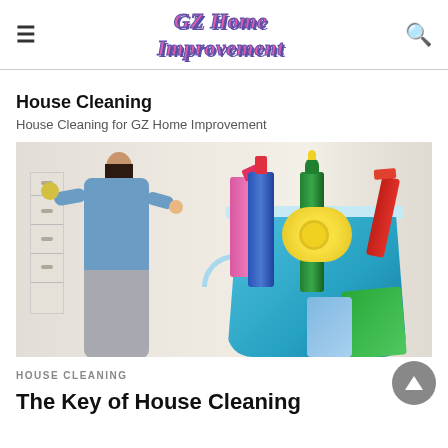GZ Home Improvement
House Cleaning
House Cleaning for GZ Home Improvement
[Figure (photo): A woman cleaning shelves in background, with a blue bucket full of colorful cleaning supplies in the foreground including spray bottles, yellow cloth rolls, and cleaning cloths]
HOUSE CLEANING
The Key of House Cleaning